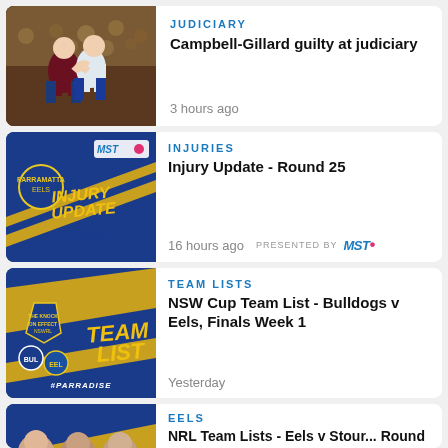[Figure (screenshot): News card 1: Rugby photo with two players grappling]
JUDICIARY
Campbell-Gillard guilty at judiciary
3 hours ago
[Figure (screenshot): News card 2: Injury Update graphic with MST branding]
INJURIES
Injury Update - Round 25
16 hours ago
PRESENTED BY MST
[Figure (screenshot): News card 3: Team List graphic with NSWRL branding]
TEAM LISTS
NSW Cup Team List - Bulldogs v Eels, Finals Week 1
Yesterday
[Figure (screenshot): News card 4 (partial): Eels player photos]
EELS
NRL Team Lists - Eels v Stour... Round 25